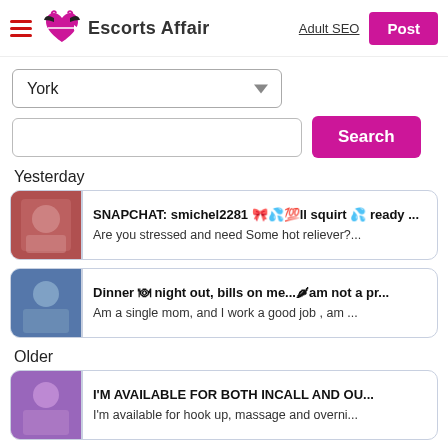Escorts Affair — Adult SEO | Post
York (dropdown)
Search (button)
Yesterday
SNAPCHAT: smichel2281 🎀💦💯ll squirt 💦 ready ...
Are you stressed and need Some hot reliever?...
Dinner 🍽 night out, bills on me...🌶am not a pr...
Am a single mom, and I work a good job , am ...
Older
I'M AVAILABLE FOR BOTH INCALL AND OU...
I'm available for hook up, massage and overni...